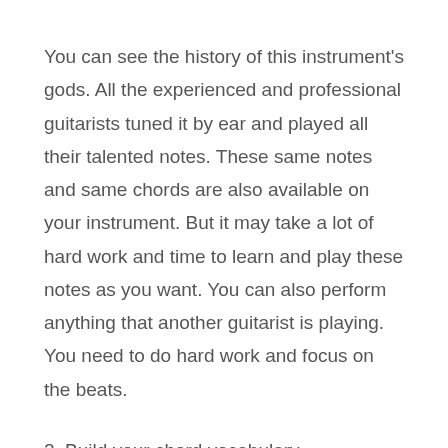You can see the history of this instrument's gods. All the experienced and professional guitarists tuned it by ear and played all their talented notes. These same notes and same chords are also available on your instrument. But it may take a lot of hard work and time to learn and play these notes as you want. You can also perform anything that another guitarist is playing. You need to do hard work and focus on the beats.
2. Build your chord vocabulary